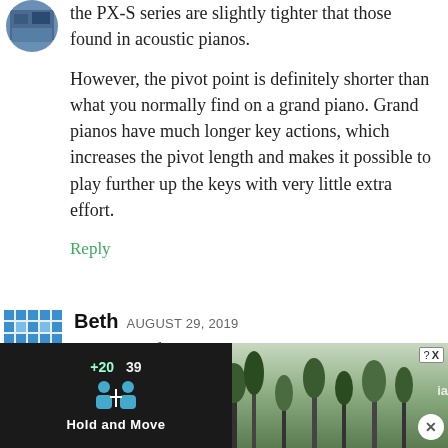[Figure (photo): Circular avatar photo, partially visible at top of comment thread]
the PX-S series are slightly tighter that those found in acoustic pianos.

However, the pivot point is definitely shorter than what you normally find on a grand piano. Grand pianos have much longer key actions, which increases the pivot length and makes it possible to play further up the keys with very little extra effort.
Reply
[Figure (illustration): Blue geometric/mosaic pattern avatar for user Beth]
Beth AUGUST 29, 2019
Do you prefer the Casio PX-S3000 or
[Figure (screenshot): Ad banner at bottom: dark background with game-like UI showing scores +20 and 39, two player icons, text 'Hold and Move', and a partially visible outdoor photo on the right with a dismiss button]